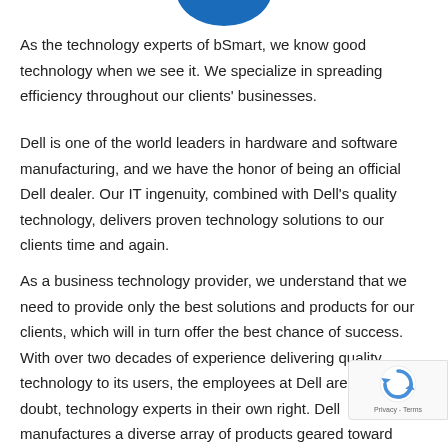[Figure (logo): Partial bSmart logo (blue shape, top of page, partially cut off)]
As the technology experts of bSmart, we know good technology when we see it. We specialize in spreading efficiency throughout our clients' businesses.
Dell is one of the world leaders in hardware and software manufacturing, and we have the honor of being an official Dell dealer. Our IT ingenuity, combined with Dell's quality technology, delivers proven technology solutions to our clients time and again.
As a business technology provider, we understand that we need to provide only the best solutions and products for our clients, which will in turn offer the best chance of success. With over two decades of experience delivering quality technology to its users, the employees at Dell are, without a doubt, technology experts in their own right. Dell manufactures a diverse array of products geared toward boosting your business' productivity, and bSmart is the top official Dell dealer in the South Florida community. our top-tier consultants and Dell's powerful technology solutions.